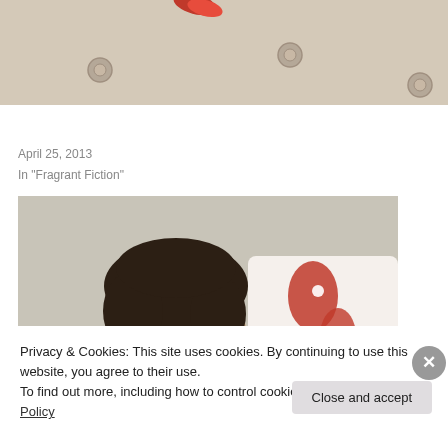[Figure (photo): Partial top photo showing what appears to be a floor or surface with small circular objects and a red item, cropped at the top of the page.]
The Perfume Collector by Kathleen Tessaro – Book Review
April 25, 2013
In "Fragrant Fiction"
[Figure (photo): Photo of a bearded man with short dark hair wearing a grey shirt, sitting indoors against a white and red floral pillow/cushion background.]
Privacy & Cookies: This site uses cookies. By continuing to use this website, you agree to their use.
To find out more, including how to control cookies, see here: Cookie Policy
Close and accept